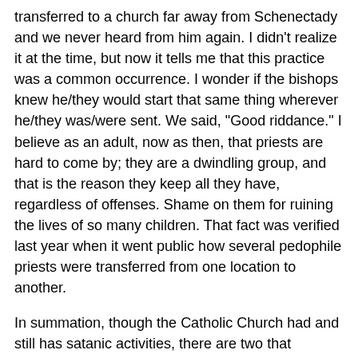transferred to a church far away from Schenectady and we never heard from him again. I didn't realize it at the time, but now it tells me that this practice was a common occurrence. I wonder if the bishops knew he/they would start that same thing wherever he/they was/were sent. We said, "Good riddance." I believe as an adult, now as then, that priests are hard to come by; they are a dwindling group, and that is the reason they keep all they have, regardless of offenses. Shame on them for ruining the lives of so many children. That fact was verified last year when it went public how several pedophile priests were transferred from one location to another.
In summation, though the Catholic Church had and still has satanic activities, there are two that contribute to them all: The first and most major problem is that their religion does not conform to the NT, even though they mention the name of Jesus Christ frequently. Their religion is not a Christian religion!
And second, they forbid the marriage of priest and nuns. I believe that before most nuns enter the convent, they are